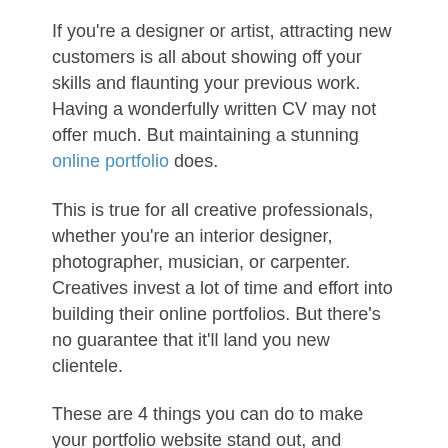If you're a designer or artist, attracting new customers is all about showing off your skills and flaunting your previous work. Having a wonderfully written CV may not offer much. But maintaining a stunning online portfolio does.
This is true for all creative professionals, whether you're an interior designer, photographer, musician, or carpenter. Creatives invest a lot of time and effort into building their online portfolios. But there's no guarantee that it'll land you new clientele.
These are 4 things you can do to make your portfolio website stand out, and attract more customers: